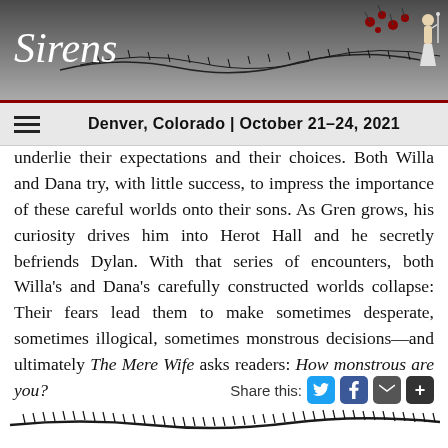Sirens — Denver, Colorado | October 21–24, 2021
underlie their expectations and their choices. Both Willa and Dana try, with little success, to impress the importance of these careful worlds onto their sons. As Gren grows, his curiosity drives him into Herot Hall and he secretly befriends Dylan. With that series of encounters, both Willa's and Dana's carefully constructed worlds collapse: Their fears lead them to make sometimes desperate, sometimes illogical, sometimes monstrous decisions—and ultimately The Mere Wife asks readers: How monstrous are you?
Share this: